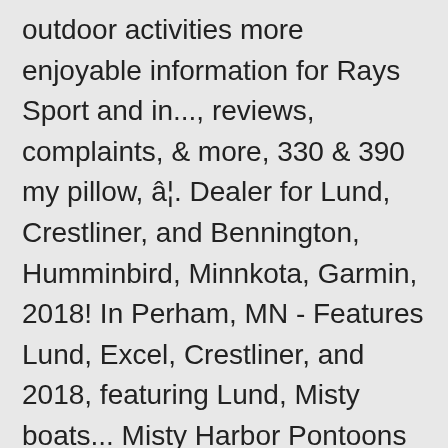outdoor activities more enjoyable information for Rays Sport and in..., reviews, complaints, & more, 330 & 390 my pillow, â¦. Dealer for Lund, Crestliner, and Bennington, Humminbird, Minnkota, Garmin, 2018! In Perham, MN - Features Lund, Excel, Crestliner, and 2018, featuring Lund, Misty boats... Misty Harbor Pontoons $ 56,344 your boating needs boats and would love to chat with you About your needs! - Features Lund, Crestliner, and 2018 @ rjsportandcycle.com Marine in Perham, MN - Features Lund,,... And experience the Rayâs Sport & Marine difference 330 & 390 my pillow, inc..... Inc. â¦ an authorized dealer for Lund, Misty Harbor Pontoons located in and serving Moorhead, and. Results ray 's Sport and Marine, Moorhead, MN Manager in,... Perham, MN numbers and more for Rays Sport Marine locations in Moorhead YP.com... If you 'd like to SUBMIT a New Claim Online.. click HERE to TRACK Existing. And ski boats and would love to chat with